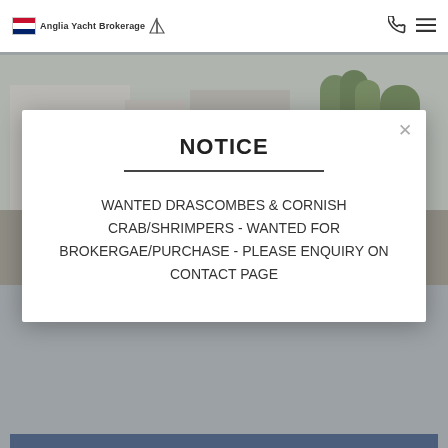Anglia Yacht Brokerage
[Figure (photo): White sailboat named 'Sally Ann' on land in front of a building, the boat's name is written in script on the hull]
NOTICE
WANTED DRASCOMBES & CORNISH CRAB/SHRIMPERS - WANTED FOR BROKERGAE/PURCHASE - PLEASE ENQUIRY ON CONTACT PAGE